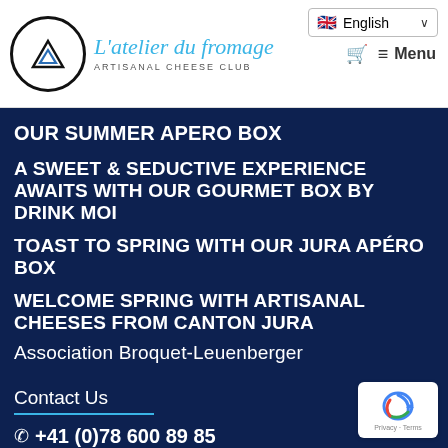[Figure (logo): L'atelier du fromage - Artisanal Cheese Club logo with circular emblem and script text]
OUR SUMMER APERO BOX
A SWEET & SEDUCTIVE EXPERIENCE AWAITS WITH OUR GOURMET BOX BY DRINK MOI
TOAST TO SPRING WITH OUR JURA APÉRO BOX
WELCOME SPRING WITH ARTISANAL CHEESES FROM CANTON JURA
Association Broquet-Leuenberger
Contact Us
+41 (0)78 600 89 85